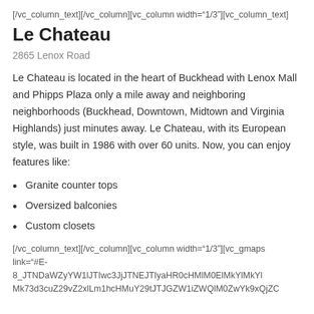[/vc_column_text][/vc_column][vc_column width="1/3"][vc_column_text]
Le Chateau
2865 Lenox Road
Le Chateau is located in the heart of Buckhead with Lenox Mall and Phipps Plaza only a mile away and neighboring neighborhoods (Buckhead, Downtown, Midtown and Virginia Highlands) just minutes away. Le Chateau, with its European style, was built in 1986 with over 60 units. Now, you can enjoy features like:
Granite counter tops
Oversized balconies
Custom closets
[/vc_column_text][/vc_column][vc_column width="1/3"][vc_gmaps link="#E-8_JTNDaWZyYW1lJTIwc3JjJTNEJTIyaHR0cHMlM0ElMkYlMkZ3d3cuZ29vZ2xlLm1hcHMuY29tJTJGZW1iZWQlM0ZwYk...